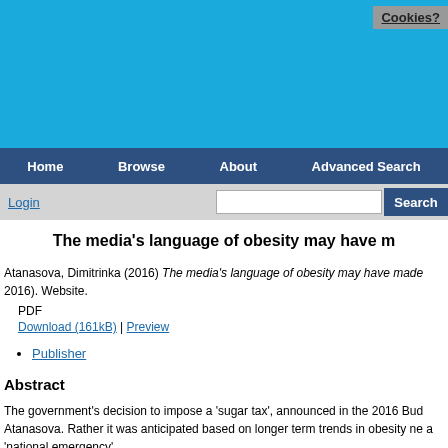[Figure (screenshot): Blue header banner of an academic repository website]
Cookies?
Home  Browse  About  Advanced Search
Login  [search box]  Search
The media's language of obesity may have m
Atanasova, Dimitrinka (2016) The media's language of obesity may have made 2016). Website.
PDF
Download (161kB) | Preview
Publisher
Abstract
The government's decision to impose a 'sugar tax', announced in the 2016 Bud Atanasova. Rather it was anticipated based on longer term trends in obesity new a 'national emergency'.